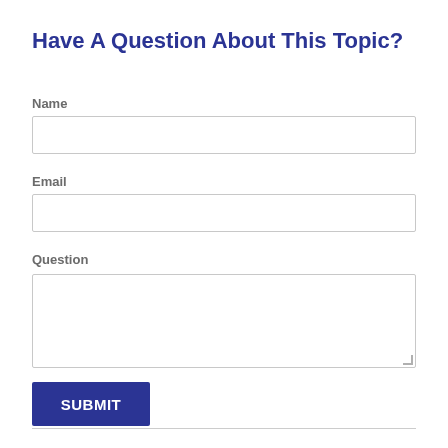Have A Question About This Topic?
Name
Email
Question
SUBMIT
Experience Matters